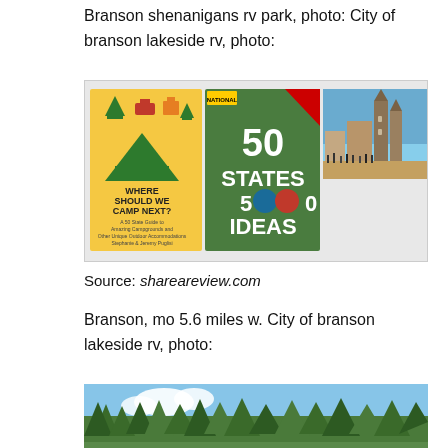Branson shenanigans rv park, photo: City of branson lakeside rv, photo:
[Figure (photo): Composite image showing two book covers ('Where Should We Camp Next?' and '50 States 5000 Ideas') alongside a photo of a European city square with gothic church towers at sunset]
Source: shareareview.com
Branson, mo 5.6 miles w. City of branson lakeside rv, photo:
[Figure (photo): Outdoor landscape photo showing trees and sky, appears to be a campground or park setting]